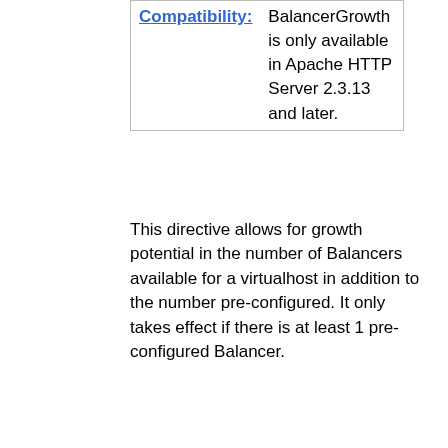| Compatibility: | BalancerGrowth is only available in Apache HTTP Server 2.3.13 and later. |
This directive allows for growth potential in the number of Balancers available for a virtualhost in addition to the number pre-configured. It only takes effect if there is at least 1 pre-configured Balancer.
BalancerInherit Directive
| Description: | Inherit ProxyPassed Balancers/Workers from the main server |
| Syntax: | BalancerInherit On|Off |